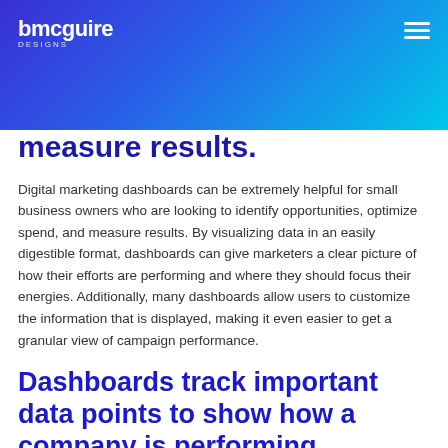bmcguire designs
measure results.
Digital marketing dashboards can be extremely helpful for small business owners who are looking to identify opportunities, optimize spend, and measure results. By visualizing data in an easily digestible format, dashboards can give marketers a clear picture of how their efforts are performing and where they should focus their energies. Additionally, many dashboards allow users to customize the information that is displayed, making it even easier to get a granular view of campaign performance.
Dashboards track important data points to show how a company is performing